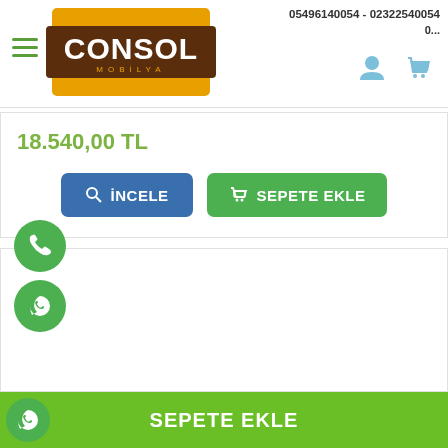05496140054 - 02322540054
[Figure (logo): CONSOL MOBİLYA logo — white text on brown background with yellow/orange border]
18.540,00 TL
İNCELE
SEPETE EKLE
SEPETE EKLE